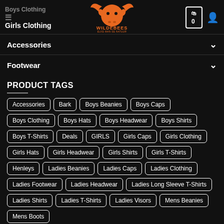Boys Clothing | Girls Clothing | Wildebees | Cart 0 | User
Accessories
Footwear
PRODUCT TAGS
Accessories
Bark
Boys Beanies
Boys Caps
Boys Clothing
Boys Hats
Boys Headwear
Boys Shirts
Boys T-Shirts
Deals
GIRLS
Girls Caps
Girls Clothing
Girls Hats
Girls Headwear
Girls Shirts
Girls T-Shirts
Henleys
Ladies Beanies
Ladies Caps
Ladies Clothing
Ladies Footwear
Ladies Headwear
Ladies Long Sleeve T-Shirts
Ladies Shirts
Ladies T-Shirts
Ladies Visors
Mens Beanies
Mens Boots